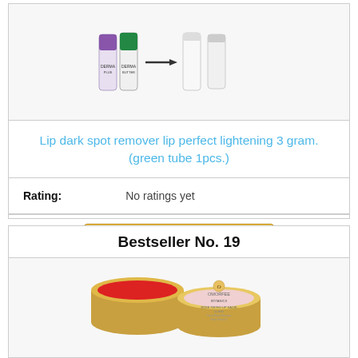[Figure (photo): Product tubes: Derma Plus multi-purpose tubes shown with arrow, followed by white tubes (lip dark spot remover products)]
Lip dark spot remover lip perfect lightening 3 gram.(green tube 1pcs.)
Rating:    No ratings yet
🛒 Check on Amazon
Bestseller No. 19
[Figure (photo): Omorfee Rose Tinted Lip Salve tin containers - an open red tin and a closed pink-labeled tin showing product branding]